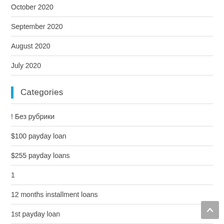October 2020
September 2020
August 2020
July 2020
Categories
! Без рубрики
$100 payday loan
$255 payday loans
1
12 months installment loans
1st payday loan
1xslots-casino-online.com_PBN